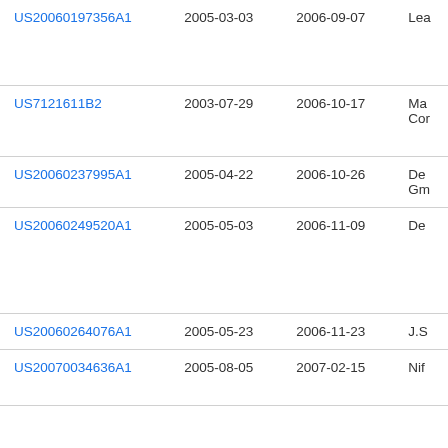| Patent Number | Filing Date | Publication Date | Assignee |
| --- | --- | --- | --- |
| US20060197356A1 | 2005-03-03 | 2006-09-07 | Lea... |
| US7121611B2 | 2003-07-29 | 2006-10-17 | Ma... Cor... |
| US20060237995A1 | 2005-04-22 | 2006-10-26 | De... Gm... |
| US20060249520A1 | 2005-05-03 | 2006-11-09 | De... |
| US20060264076A1 | 2005-05-23 | 2006-11-23 | J.S... |
| US20070034636A1 | 2005-08-05 | 2007-02-15 | Nif... |